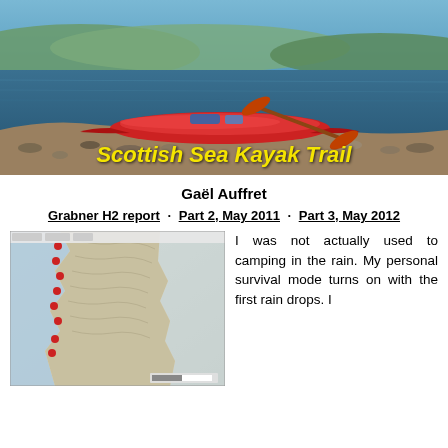[Figure (photo): Hero image of a red sea kayak resting on a rocky Scottish shore with calm blue sea and green hills in background. Yellow italic bold text overlay reads 'Scottish Sea Kayak Trail'.]
Gaël Auffret
Grabner H2 report · Part 2, May 2011 · Part 3, May 2012
[Figure (map): Topographic map showing a Scottish coastline with route markers and GPS waypoints along the western coast.]
I was not actually used to camping in the rain. My personal survival mode turns on with the first rain drops. I